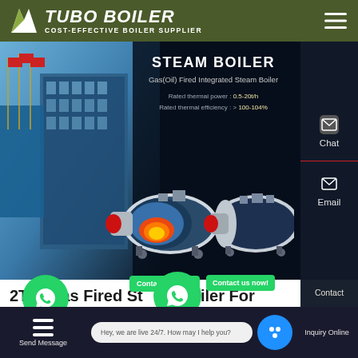TUBO BOILER — COST-EFFECTIVE BOILER SUPPLIER
[Figure (screenshot): Hero banner showing steam boiler product with building background, two industrial gas-fired steam boilers displayed, text overlay: STEAM BOILER, Gas(Oil) Fired Integrated Steam Boiler, Rated thermal power: 0.5-20t/h, Rated thermal efficiency: > 100-104%]
2T H Gas Fired Steam Boiler For Package Plant
[Figure (screenshot): Website UI overlays: WhatsApp chat buttons, Contact us now badges, Send Message bar, chat bubble, Inquiry Online button]